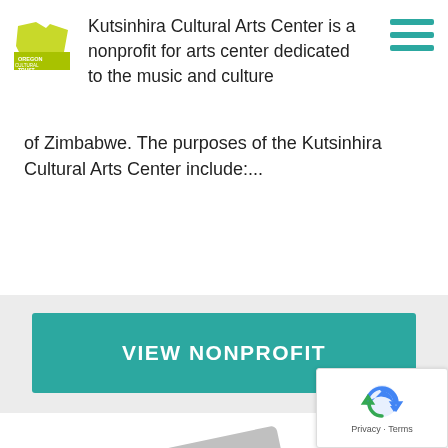[Figure (logo): Oregon Cultural Trust logo — green rectangle with 'OREGON CULTURAL TRUST' text]
[Figure (other): Hamburger menu icon with three horizontal teal lines]
Kutsinhira Cultural Arts Center is a nonprofit for arts center dedicated to the music and culture of Zimbabwe. The purposes of the Kutsinhira Cultural Arts Center include:...
VIEW NONPROFIT
[Figure (illustration): Gray placeholder image icon showing stacked photo cards with mountain/sun scene]
[Figure (other): Google reCAPTCHA badge with blue arrow logo and 'Privacy - Terms' text]